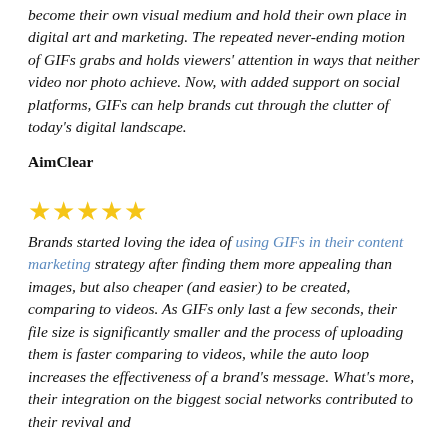become their own visual medium and hold their own place in digital art and marketing. The repeated never-ending motion of GIFs grabs and holds viewers' attention in ways that neither video nor photo achieve. Now, with added support on social platforms, GIFs can help brands cut through the clutter of today's digital landscape.
AimClear
[Figure (other): Five gold star rating icons]
Brands started loving the idea of using GIFs in their content marketing strategy after finding them more appealing than images, but also cheaper (and easier) to be created, comparing to videos. As GIFs only last a few seconds, their file size is significantly smaller and the process of uploading them is faster comparing to videos, while the auto loop increases the effectiveness of a brand's message. What's more, their integration on the biggest social networks contributed to their revival and